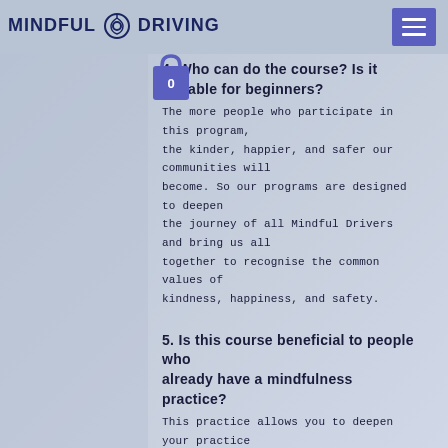MINDFUL DRIVING
4. Who can do the course? Is it suitable for beginners?
The more people who participate in this program, the kinder, happier, and safer our communities will become. So our programs are designed to deepen the journey of all Mindful Drivers and bring us all together to recognise the common values of kindness, happiness, and safety.
5. Is this course beneficial to people who already have a mindfulness practice?
This practice allows you to deepen your practice and use the road as a metaphor for real-life experience to deepen your understanding, wisdom and self-awaresnes.